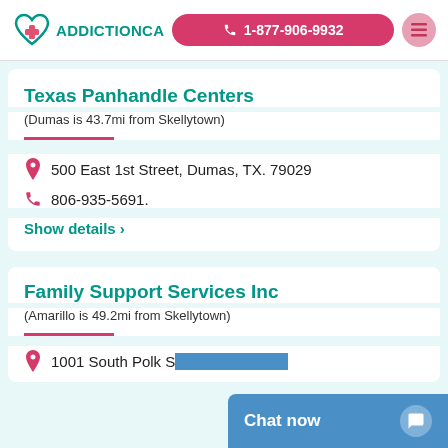ADDICTIONCA | 1-877-906-9932
Texas Panhandle Centers
(Dumas is 43.7mi from Skellytown)
500 East 1st Street, Dumas, TX. 79029
806-935-5691.
Show details ›
Family Support Services Inc
(Amarillo is 49.2mi from Skellytown)
1001 South Polk S…